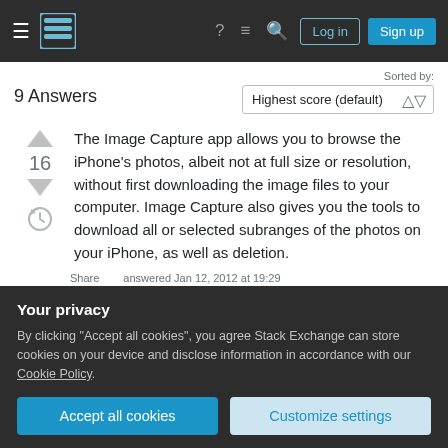Stack Exchange navigation bar with hamburger menu, logo, help, chat, search icons, Log in and Sign up buttons
Sorted by:
9 Answers
Highest score (default)
The Image Capture app allows you to browse the iPhone's photos, albeit not at full size or resolution, without first downloading the image files to your computer. Image Capture also gives you the tools to download all or selected subranges of the photos on your iPhone, as well as deletion.
Share
answered Jan 12, 2012 at 19:29
Your privacy
By clicking "Accept all cookies", you agree Stack Exchange can store cookies on your device and disclose information in accordance with our Cookie Policy.
Accept all cookies
Customize settings
15:56